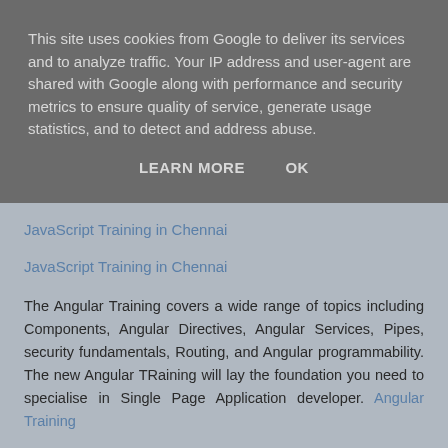This site uses cookies from Google to deliver its services and to analyze traffic. Your IP address and user-agent are shared with Google along with performance and security metrics to ensure quality of service, generate usage statistics, and to detect and address abuse.
LEARN MORE   OK
JavaScript Training in Chennai
JavaScript Training in Chennai
The Angular Training covers a wide range of topics including Components, Angular Directives, Angular Services, Pipes, security fundamentals, Routing, and Angular programmability. The new Angular TRaining will lay the foundation you need to specialise in Single Page Application developer. Angular Training
Reply